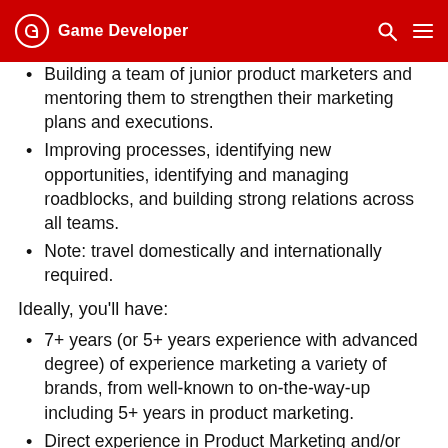Game Developer
Building a team of junior product marketers and mentoring them to strengthen their marketing plans and executions.
Improving processes, identifying new opportunities, identifying and managing roadblocks, and building strong relations across all teams.
Note: travel domestically and internationally required.
Ideally, you'll have:
7+ years (or 5+ years experience with advanced degree) of experience marketing a variety of brands, from well-known to on-the-way-up including 5+ years in product marketing.
Direct experience in Product Marketing and/or